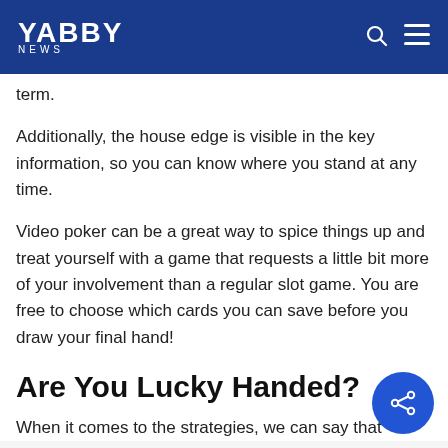YABBY NEWS
term.
Additionally, the house edge is visible in the key information, so you can know where you stand at any time.
Video poker can be a great way to spice things up and treat yourself with a game that requests a little bit more of your involvement than a regular slot game. You are free to choose which cards you can save before you draw your final hand!
Are You Lucky Handed?
When it comes to the strategies, we can say that